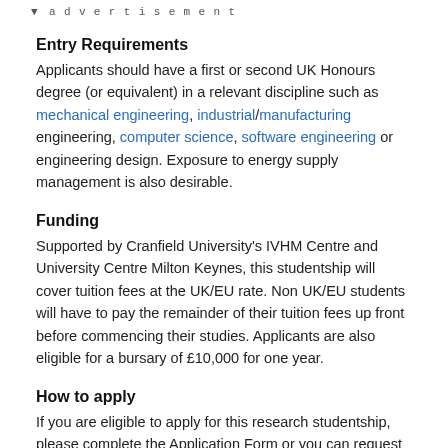▼ advertisement
Entry Requirements
Applicants should have a first or second UK Honours degree (or equivalent) in a relevant discipline such as mechanical engineering, industrial/manufacturing engineering, computer science, software engineering or engineering design. Exposure to energy supply management is also desirable.
Funding
Supported by Cranfield University's IVHM Centre and University Centre Milton Keynes, this studentship will cover tuition fees at the UK/EU rate. Non UK/EU students will have to pay the remainder of their tuition fees up front before commencing their studies. Applicants are also eligible for a bursary of £10,000 for one year.
How to apply
If you are eligible to apply for this research studentship, please complete the Application Form or you can request that we post one to you. Alternatively you may wish to apply online. For further